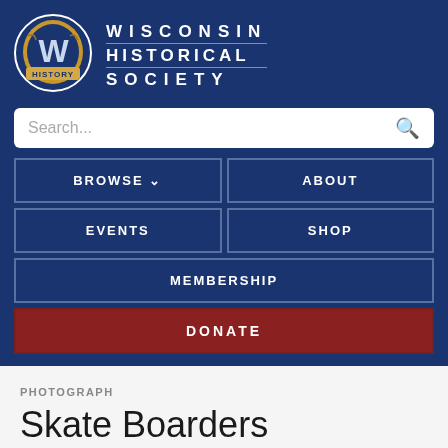[Figure (logo): Wisconsin Historical Society logo with W emblem and text WISCONSIN HISTORICAL SOCIETY]
Search...
BROWSE
ABOUT
EVENTS
SHOP
MEMBERSHIP
DONATE
PHOTOGRAPH
Skate Boarders